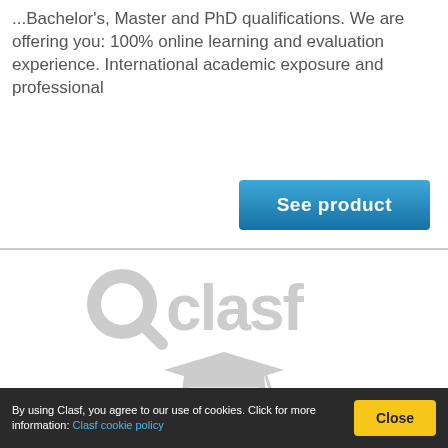...Bachelor's, Master and PhD qualifications. We are offering you: 100% online learning and evaluation experience. International academic exposure and professional
See product
[Figure (logo): Clasf logo with graduation cap illustration in light gray]
By using Clasf, you agree to our use of cookies. Click for more information: Clasf cookie policy